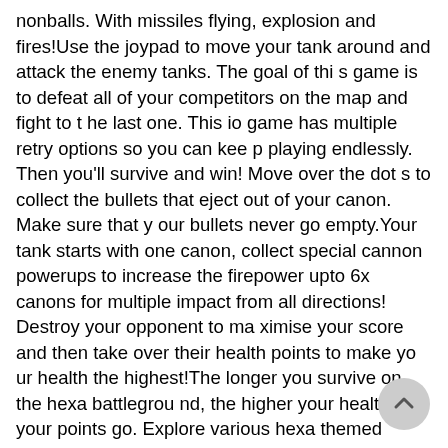nonballs. With missiles flying, explosion and fires!Use the joypad to move your tank around and attack the enemy tanks. The goal of this game is to defeat all of your competitors on the map and fight to the last one. This io game has multiple retry options so you can keep playing endlessly. Then you'll survive and win! Move over the dots to collect the bullets that eject out of your canon. Make sure that your bullets never go empty.Your tank starts with one canon, collect special cannon powerups to increase the firepower upto 6x canons for multiple impact from all directions! Destroy your opponent to maximise your score and then take over their health points to make your health the highest!The longer you survive on the hexa battleground, the higher your health and your points go. Explore various hexa themed worlds to get the best feel of this battle game. Bored of your own tank? Do not worry, we have 15 super cool upgrades for you to change to! So get ready for the mega battles of the tanks !Battle.io Game Features: - Highly optimized comic graphics and sounds- Real-time multiplayer gameplay with simple & easy controls- Tap to